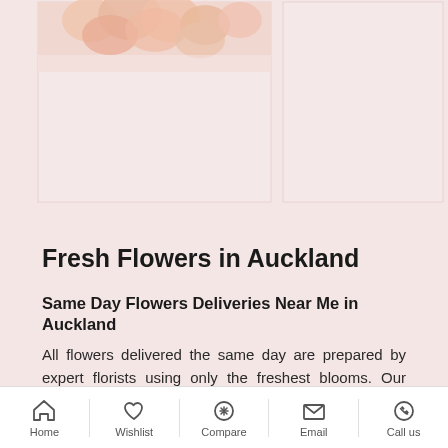[Figure (photo): Two product cards with floral/flower images on a pink background. Left card shows top portion of flowers (peach/orange roses). Right card shows a mostly pink/empty card.]
Fresh Flowers in Auckland
Same Day Flowers Deliveries Near Me in Auckland
All flowers delivered the same day are prepared by expert florists using only the freshest blooms. Our same day florist shop offers a large selection of cut
Home   Wishlist   Compare   Email   Call us